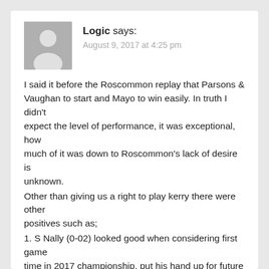[Figure (illustration): Gray placeholder avatar icon showing silhouette of a person]
Logic says:
August 9, 2017 at 4:25 pm
I said it before the Roscommon replay that Parsons & Vaughan to start and Mayo to win easily. In truth I didn't expect the level of performance, it was exceptional, how much of it was down to Roscommon's lack of desire is unknown.
Other than giving us a right to play kerry there were other positives such as;
1. S Nally (0-02) looked good when considering first game time in 2017 championship, put his hand up for future consideration.
2. C. Loftus again showed promise
3. All starting 15 were impressive
4. SOS improved 75% on the drawn game, did the simple things and did them well
Room for improvement/opportunities/challenges
1. A.Moran, wins a lot of ball, but is slow to lay it off. There